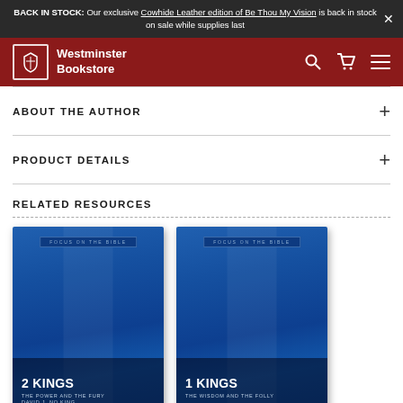BACK IN STOCK: Our exclusive Cowhide Leather edition of Be Thou My Vision is back in stock on sale while supplies last
[Figure (screenshot): Westminster Bookstore site header with logo, search, cart, and menu icons on dark red background]
ABOUT THE AUTHOR
PRODUCT DETAILS
RELATED RESOURCES
[Figure (photo): Book cover: 2 Kings – The Power and the Fury, Focus on the Bible series, blue cover]
[Figure (photo): Book cover: 1 Kings – The Wisdom and the Folly, Focus on the Bible series, blue cover]